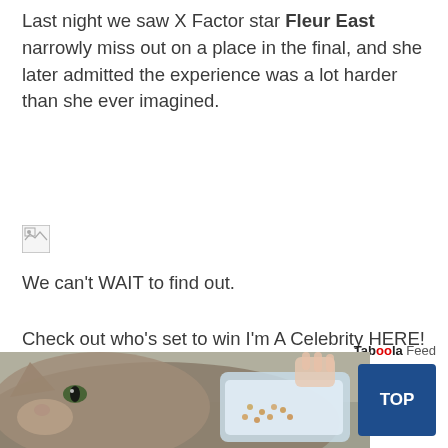Last night we saw X Factor star Fleur East narrowly miss out on a place in the final, and she later admitted the experience was a lot harder than she ever imagined.
[Figure (other): Broken/missing image placeholder icon]
We can't WAIT to find out.
Check out who's set to win I'm A Celebrity HERE!
Source: Read Full Article
Taboola Feed
[Figure (photo): Close-up photo of a cat eating from a food container]
TOP